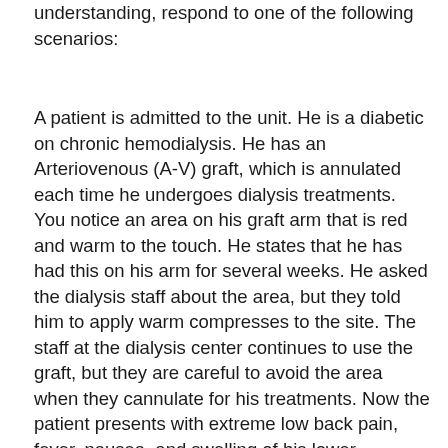understanding, respond to one of the following scenarios:
A patient is admitted to the unit. He is a diabetic on chronic hemodialysis. He has an Arteriovenous (A-V) graft, which is annulated each time he undergoes dialysis treatments. You notice an area on his graft arm that is red and warm to the touch. He states that he has had this on his arm for several weeks. He asked the dialysis staff about the area, but they told him to apply warm compresses to the site. The staff at the dialysis center continues to use the graft, but they are careful to avoid the area when they cannulate for his treatments. Now the patient presents with extreme low back pain, fever, nausea, and swelling of his lower extremities. On checking his fasting serum glucose, you notice that the reading is 159 (Normal fasting blood glucose range 64 to 110 mg/dl), and his white blood cell count is 36,000 (normal range is 4,500-10,000 white blood